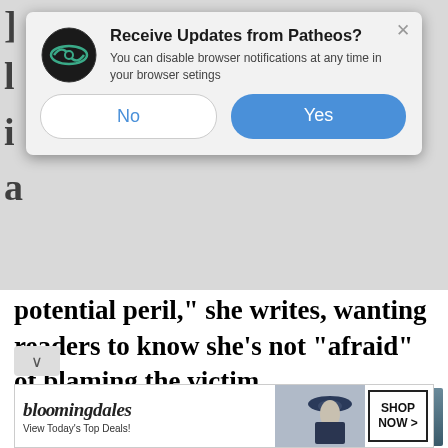[Figure (screenshot): Browser notification dialog from Patheos asking 'Receive Updates from Patheos?' with No and Yes buttons, overlaying a webpage]
potential peril," she writes, wanting readers to know she's not "afraid" of blaming the victim.
[Figure (photo): Underwater photograph of a large school of fish (bait ball) with a shark visible below, in dark ocean water]
[Figure (screenshot): Bloomingdale's advertisement banner: 'bloomingdales - View Today's Top Deals! SHOP NOW >']